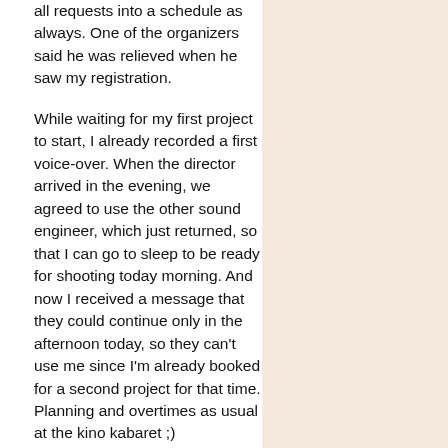all requests into a schedule as always. One of the organizers said he was relieved when he saw my registration.
While waiting for my first project to start, I already recorded a first voice-over. When the director arrived in the evening, we agreed to use the other sound engineer, which just returned, so that I can go to sleep to be ready for shooting today morning. And now I received a message that they could continue only in the afternoon today, so they can't use me since I'm already booked for a second project for that time. Planning and overtimes as usual at the kino kabaret ;)
In essence a calm start and meeting old acquaintances. There are also some pictures of the production meeting online here (with an unfortunate picture of me :).